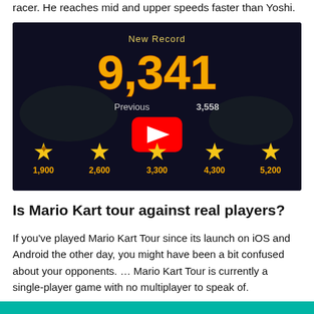racer. He reaches mid and upper speeds faster than Yoshi.
[Figure (screenshot): YouTube video thumbnail showing a Mario Kart Tour new record score of 9,341 with previous record partially visible showing 3,558. Five gold star milestones shown at bottom: 1,900 / 2,600 / 3,300 / 4,300 / 5,200. A YouTube play button overlay is centered on the image.]
Is Mario Kart tour against real players?
If you've played Mario Kart Tour since its launch on iOS and Android the other day, you might have been a bit confused about your opponents. … Mario Kart Tour is currently a single-player game with no multiplayer to speak of.